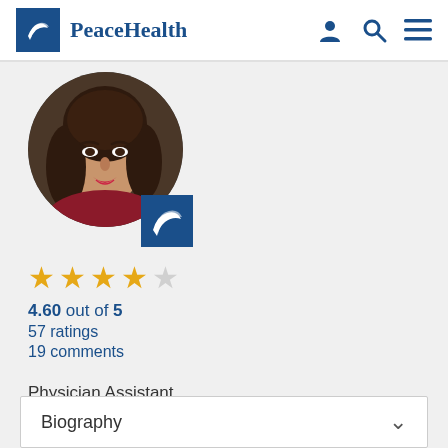PeaceHealth
[Figure (photo): Circular profile photo of a woman with brown wavy hair and red top, with PeaceHealth logo badge overlay]
4.60 out of 5
57 ratings
19 comments
Physician Assistant,
Gastroenterology
Biography